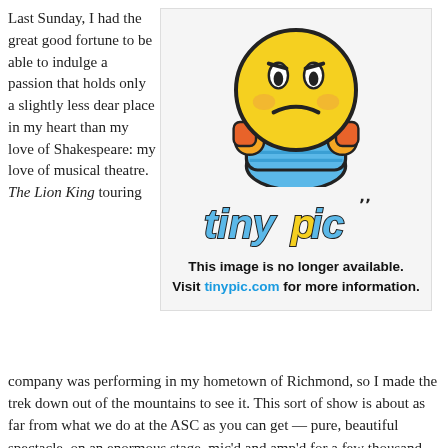Last Sunday, I had the great good fortune to be able to indulge a passion that holds only a slightly less dear place in my heart than my love of Shakespeare: my love of musical theatre. The Lion King touring
[Figure (illustration): Tinypic placeholder image showing a sad yellow emoji character with frowning face and blue body, with the tinypic logo below and text reading 'This image is no longer available. Visit tinypic.com for more information.']
company was performing in my hometown of Richmond, so I made the trek down out of the mountains to see it. This sort of show is about as far from what we do at the ASC as you can get — pure, beautiful spectacle, on an enormous stage, mic'd and amp'd for a few thousand people — and it's glorious, using song and color to convey emotion and energy. The audience contact is different from